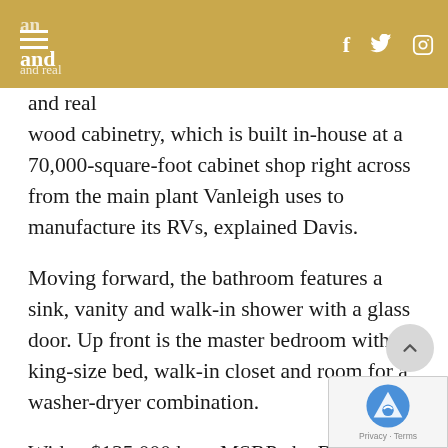and · f [facebook] [twitter] [instagram]
and real wood cabinetry, which is built in-house at a 70,000-square-foot cabinet shop right across from the main plant Vanleigh uses to manufacture its RVs, explained Davis.
Moving forward, the bathroom features a sink, vanity and walk-in shower with a glass door. Up front is the master bedroom with a king-size bed, walk-in closet and room for a washer-dryer combination.
With a $135,000 base MSRP, the Beacon 42RDB also features the Spyder Multiplex system, w is designed to control every aspect of the RV, retracting the awning to checking tank levels, said